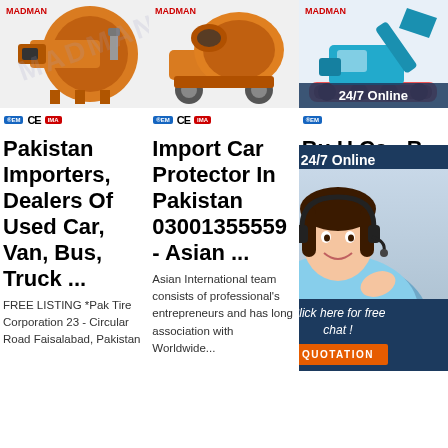[Figure (photo): Orange industrial boiler/burner machine with certification logos (CE, IMA) below]
[Figure (photo): Orange concrete mixer/drum machine with certification logos (CE, IMA) below]
[Figure (photo): Blue/teal mini excavator with 24/7 Online badge overlay]
Pakistan Importers, Dealers Of Used Car, Van, Bus, Truck ...
Import Car Protector In Pakistan 03001355559 - Asian ...
Bu... U... Ca... - B... Pakistan ...
FREE LISTING *Pak Tire Corporation 23 - Circular Road Faisalabad, Pakistan
Asian International team consists of professional's entrepreneurs and has long association with Worldwide...
2021-10-5u2002·u2002Oct 05, 2021. Ad Ref #. 6055922. Universal
[Figure (photo): 24/7 online chat agent - woman with headset, with 'Click here for free chat!' and QUOTATION button overlay]